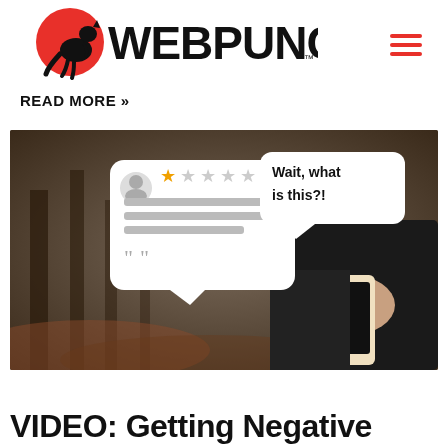WEBPUNCH
READ MORE »
[Figure (photo): Person holding a smartphone outdoors with blurred trees in background. Two speech bubble overlays: one showing a 1-star review card (1 gold star, 4 gray stars, gray text lines, quotation marks), and another bubble saying 'Wait, what is this?!']
VIDEO: Getting Negative